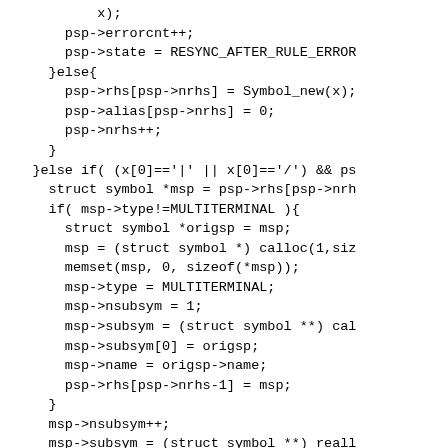Code snippet showing C parser logic with symbol handling, multiterminal construction, and error messaging.